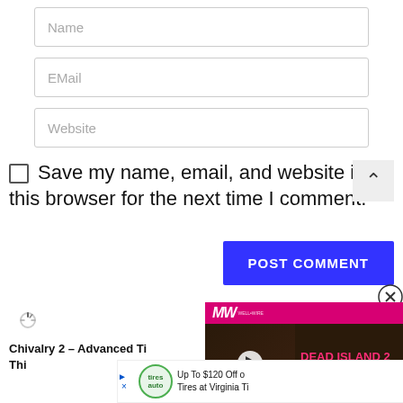[Figure (screenshot): Web form with Name, EMail, Website input fields, a Save my name checkbox, POST COMMENT button, a video ad overlay for Dead Island 2 with MW logo, and a bottom advertisement for Virginia Tires with up to $120 Off offer.]